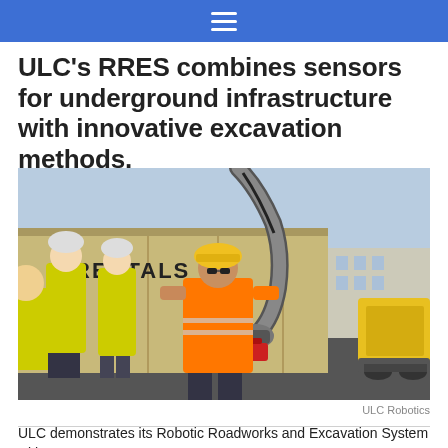≡
ULC's RRES combines sensors for underground infrastructure with innovative excavation methods.
[Figure (photo): Construction site scene: a worker in an orange hi-vis vest and yellow hard hat operates a robotic arm attached to a yellow excavator. Two other workers in yellow hi-vis vests and white hard hats observe in the background. A wooden container labeled 'K RENTALS' is visible. Outdoors, daylight.]
ULC Robotics
ULC demonstrates its Robotic Roadworks and Excavation System with partner SGN.